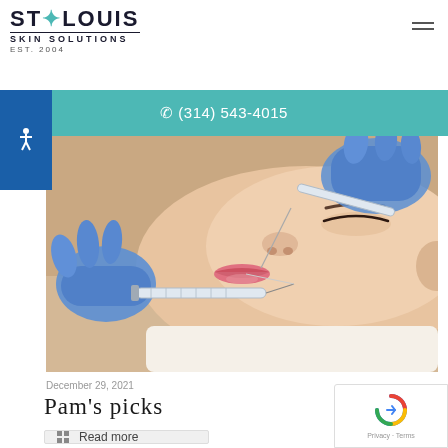ST·LOUIS SKIN SOLUTIONS EST. 2004
✆ (314) 543-4015
[Figure (photo): Close-up photo of a woman receiving a facial injection (lip filler/botox) by a gloved practitioner using a syringe]
December 29, 2021
Pam's picks
Read more